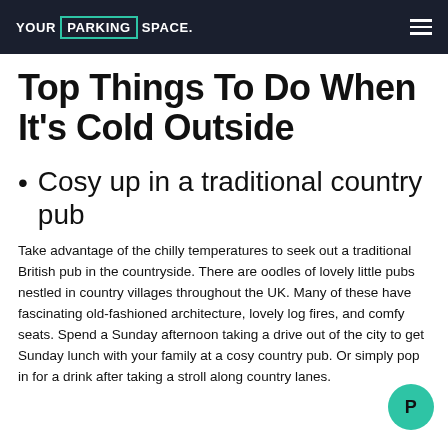YOUR PARKING SPACE.
Top Things To Do When It's Cold Outside
Cosy up in a traditional country pub
Take advantage of the chilly temperatures to seek out a traditional British pub in the countryside. There are oodles of lovely little pubs nestled in country villages throughout the UK. Many of these have fascinating old-fashioned architecture, lovely log fires, and comfy seats. Spend a Sunday afternoon taking a drive out of the city to get Sunday lunch with your family at a cosy country pub. Or simply pop in for a drink after taking a stroll along country lanes.